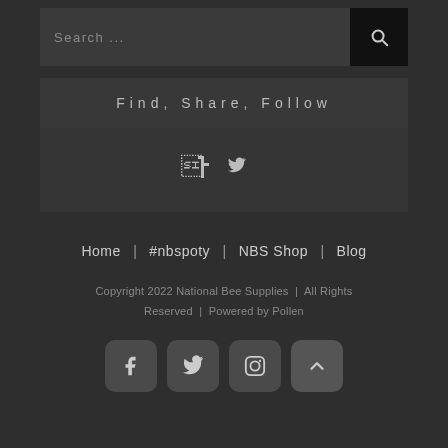Search ...
Find, Share, Follow
[Figure (infographic): Facebook and Twitter social icons]
Home | #nbspoty | NBS Shop | Blog
Copyright 2022 National Bee Supplies | All Rights Reserved | Powered by Pollen
[Figure (infographic): Facebook, Twitter, Instagram social icons and back-to-top button]